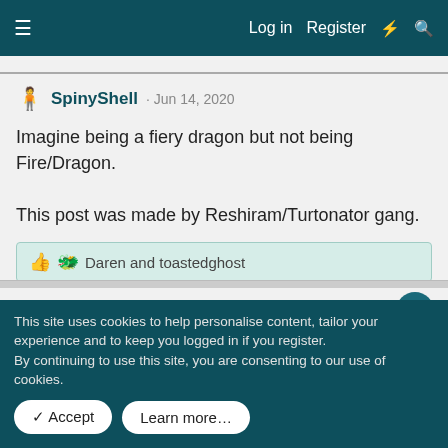≡   Log in  Register  ⚡  🔍
SpinyShell · Jun 14, 2020
Imagine being a fiery dragon but not being Fire/Dragon.

This post was made by Reshiram/Turtonator gang.
👍 🐲 Daren and toastedghost
SpinyShell · Jun 13, 2020
I just got done with my math final (which took around 5 hours) and I never want to see another matrix again.
This site uses cookies to help personalise content, tailor your experience and to keep you logged in if you register.
By continuing to use this site, you are consenting to our use of cookies.
✓ Accept    Learn more…